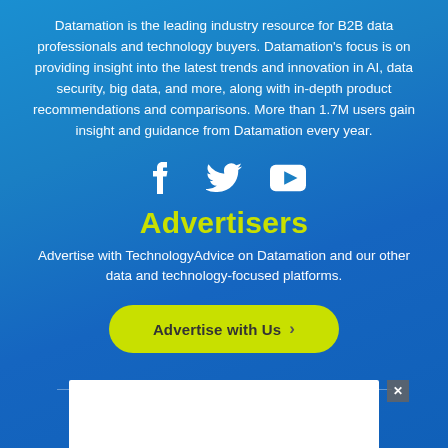Datamation is the leading industry resource for B2B data professionals and technology buyers. Datamation's focus is on providing insight into the latest trends and innovation in AI, data security, big data, and more, along with in-depth product recommendations and comparisons. More than 1.7M users gain insight and guidance from Datamation every year.
[Figure (illustration): Social media icons: Facebook (f), Twitter (bird), YouTube (play button triangle)]
Advertisers
Advertise with TechnologyAdvice on Datamation and our other data and technology-focused platforms.
[Figure (illustration): Yellow-green rounded button with text 'Advertise with Us' and a right arrow]
[Figure (screenshot): White ad box at bottom of page with a close (x) button in the top right corner]